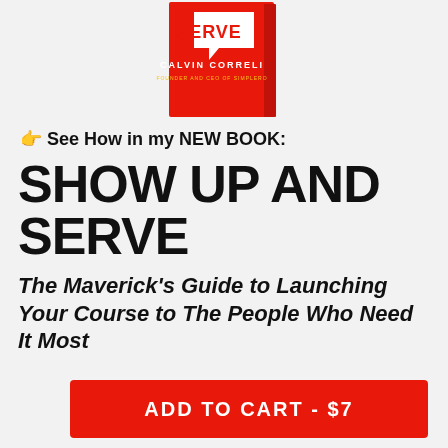[Figure (photo): Book cover of 'Show Up and Serve' by Calvin Correli, Founder and CEO of Simplero. Red cover with white speech bubble graphic and author name.]
👉 See How in my NEW BOOK:
SHOW UP AND SERVE
The Maverick's Guide to Launching Your Course to The People Who Need It Most
ADD TO CART - $7